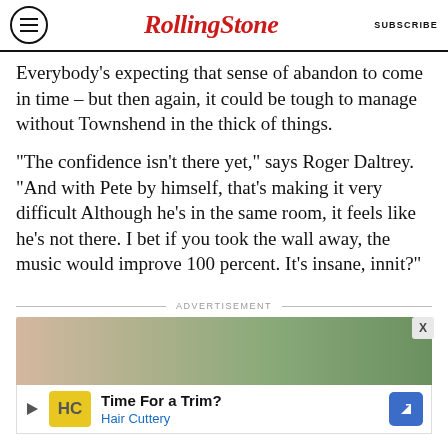RollingStone | SUBSCRIBE
Everybody's expecting that sense of abandon to come in time – but then again, it could be tough to manage without Townshend in the thick of things.
“The confidence isn’t there yet,” says Roger Daltrey. “And with Pete by himself, that’s making it very difficult Although he’s in the same room, it feels like he’s not there. I bet if you took the wall away, the music would improve 100 percent. It’s insane, innit?”
ADVERTISEMENT
[Figure (photo): Advertisement image strip showing partial photo of person and foliage, with Hair Cuttery ad banner below showing logo, 'Time For a Trim?' headline and blue direction arrow icon]